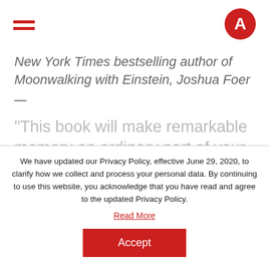[Figure (logo): Hamburger menu icon (three red horizontal lines) on the left and a red circular logo with letter A on the right, forming a navigation bar]
New York Times bestselling author of Moonwalking with Einstein, Joshua Foer
—
“This book will make remarkable memory an ordinary part of your life, and you will not find a more
We have updated our Privacy Policy, effective June 29, 2020, to clarify how we collect and process your personal data. By continuing to use this website, you acknowledge that you have read and agree to the updated Privacy Policy.
Read More
Accept